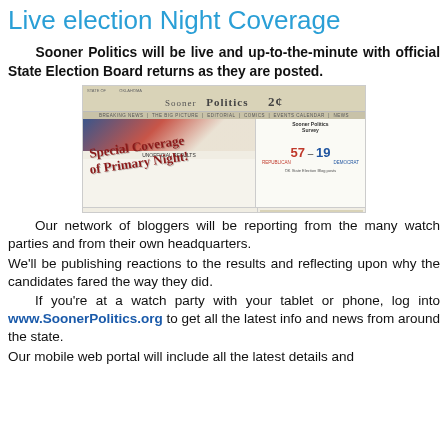Live election Night Coverage
Sooner Politics will be live and up-to-the-minute with official State Election Board returns as they are posted.
[Figure (screenshot): Screenshot of SoonerPolitics.org website showing 'Special Coverage of Primary Night' with election results Republicans 57 - Democrats 19, and The McCarville Report section]
Our network of bloggers will be reporting from the many watch parties and from their own headquarters.
We'll be publishing reactions to the results and reflecting upon why the candidates fared the way they did.
	If you're at a watch party with your tablet or phone, log into www.SoonerPolitics.org to get all the latest info and news from around the state.
Our mobile web portal will include all the latest details and